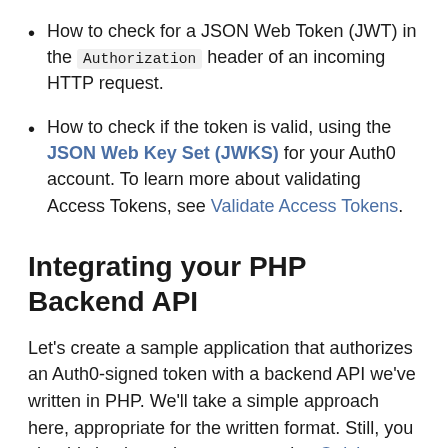How to check for a JSON Web Token (JWT) in the Authorization header of an incoming HTTP request.
How to check if the token is valid, using the JSON Web Key Set (JWKS) for your Auth0 account. To learn more about validating Access Tokens, see Validate Access Tokens.
Integrating your PHP Backend API
Let's create a sample application that authorizes an Auth0-signed token with a backend API we've written in PHP. We'll take a simple approach here, appropriate for the written format. Still, you should check out the accompanying Quickstart app on GitHub for a more